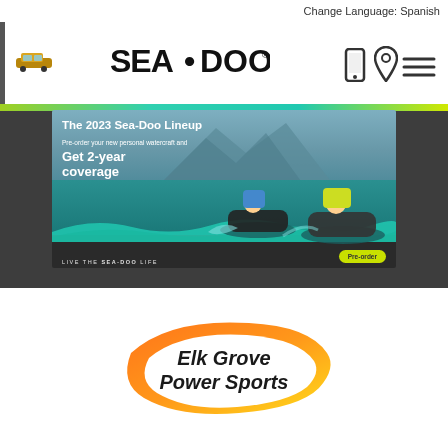Change Language: Spanish
[Figure (logo): Sea-Doo brand logo in black bold text]
[Figure (screenshot): Sea-Doo 2023 Lineup promotional banner with two riders on personal watercraft on water, teal wave design, text 'The 2023 Sea-Doo Lineup', 'Pre-order your new personal watercraft and Get 2-year coverage', 'LIVE THE SEA-DOO LIFE', Pre-order button]
[Figure (logo): Elk Grove Power Sports logo with orange and yellow oval swoosh and bold black text]